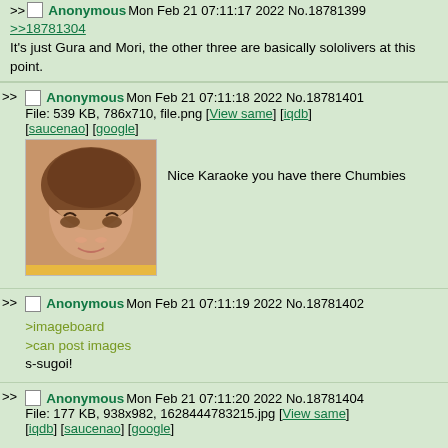>> Anonymous Mon Feb 21 07:11:17 2022 No.18781399
>>18781304
It's just Gura and Mori, the other three are basically sololivers at this point.
>> Anonymous Mon Feb 21 07:11:18 2022 No.18781401
File: 539 KB, 786x710, file.png [View same] [iqdb] [saucenao] [google]
Nice Karaoke you have there Chumbies
>> Anonymous Mon Feb 21 07:11:19 2022 No.18781402
>imageboard
>can post images
s-sugoi!
>> Anonymous Mon Feb 21 07:11:20 2022 No.18781404
File: 177 KB, 938x982, 1628444783215.jpg [View same] [iqdb] [saucenao] [google]